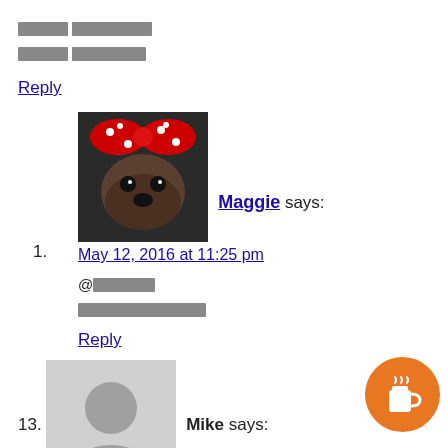█████ ████████
█████ ████████
Reply
[Figure (photo): Avatar photo of Maggie: a dog wearing a red and white polka dot bow]
1. Maggie says: May 12, 2016 at 11:25 pm
@██████
████████████
Reply
[Figure (illustration): Generic gray avatar silhouette placeholder]
13. Mike says: April 8, 2015 at 12:18 pm
Konnichiwa Maggie sensei. Thnak you for th... Just want to clarify the usage of gakusei ano... since both refer to students; as well as sensei and kyoushi. Is kyoushi only used to refer to your...
[Figure (illustration): Orange coffee cup button icon in bottom right corner]